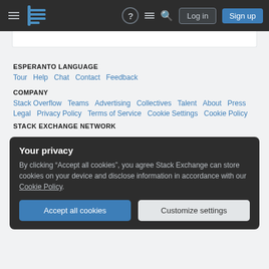Stack Exchange navigation bar with hamburger menu, logo, help, chat, search icons, Log in and Sign up buttons
ESPERANTO LANGUAGE
Tour  Help  Chat  Contact  Feedback
COMPANY
Stack Overflow  Teams  Advertising  Collectives  Talent  About  Press  Legal  Privacy Policy  Terms of Service  Cookie Settings  Cookie Policy
STACK EXCHANGE NETWORK
Your privacy
By clicking "Accept all cookies", you agree Stack Exchange can store cookies on your device and disclose information in accordance with our Cookie Policy.
Accept all cookies  Customize settings